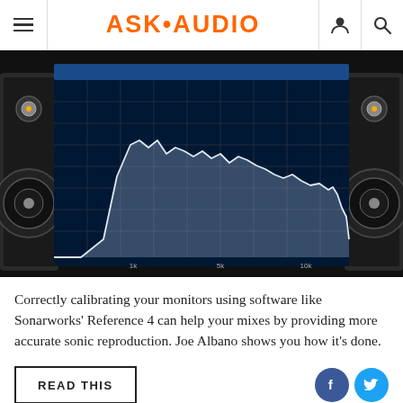ASK·AUDIO
[Figure (screenshot): Screenshot of Sonarworks Reference 4 software showing a frequency response curve on a dark grid background, flanked by two studio monitor speakers on a black background.]
Correctly calibrating your monitors using software like Sonarworks' Reference 4 can help your mixes by providing more accurate sonic reproduction. Joe Albano shows you how it's done.
READ THIS